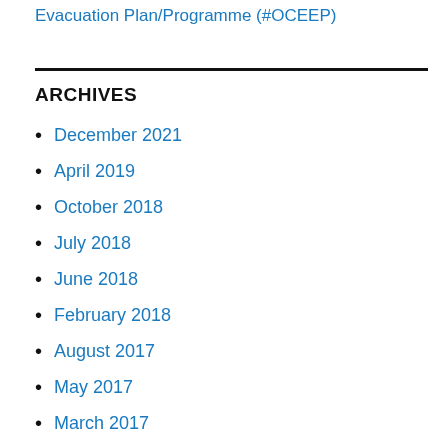Evacuation Plan/Programme (#OCEEP)
ARCHIVES
December 2021
April 2019
October 2018
July 2018
June 2018
February 2018
August 2017
May 2017
March 2017
October 2016
September 2016